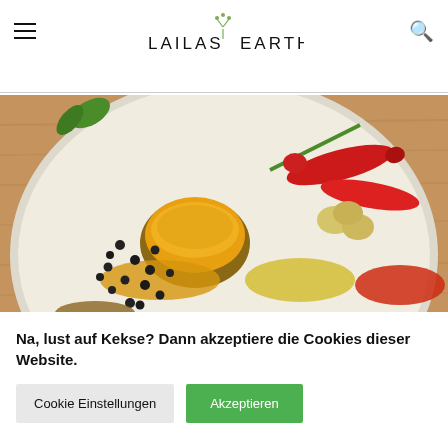LAILAS EARTH
[Figure (photo): Overhead view of a white ceramic plate with various spices: a small bowl of yellow turmeric powder, black peppercorns, sliced ginger, red chili peppers, piles of yellow and red spice powders, on a wooden surface.]
Na, lust auf Kekse? Dann akzeptiere die Cookies dieser Website.
Cookie Einstellungen   Akzeptieren